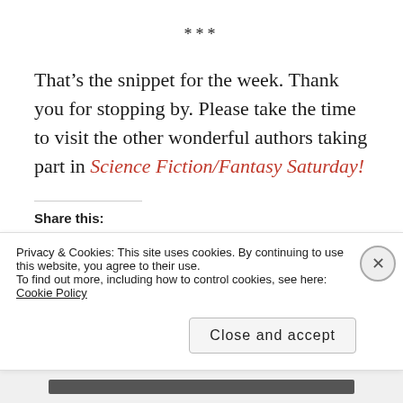***
That’s the snippet for the week. Thank you for stopping by. Please take the time to visit the other wonderful authors taking part in Science Fiction/Fantasy Saturday!
Share this:
Email | Twitter | Facebook | Pinterest | Tumblr | LinkedIn
Privacy & Cookies: This site uses cookies. By continuing to use this website, you agree to their use. To find out more, including how to control cookies, see here: Cookie Policy
Close and accept